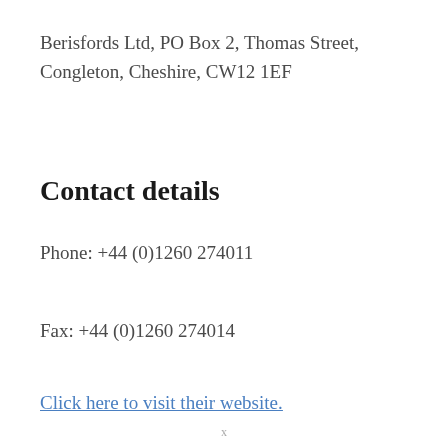Berisfords Ltd, PO Box 2, Thomas Street, Congleton, Cheshire, CW12 1EF
Contact details
Phone: +44 (0)1260 274011
Fax: +44 (0)1260 274014
Click here to visit their website.